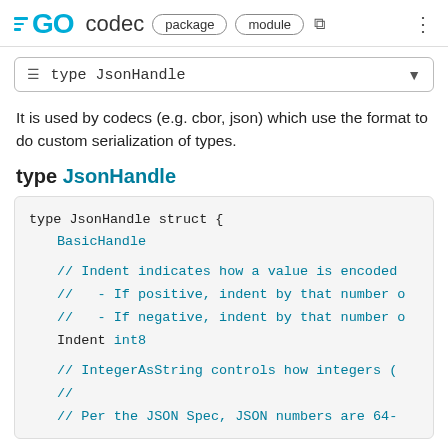GO codec  package  module
☰ type JsonHandle
It is used by codecs (e.g. cbor, json) which use the format to do custom serialization of types.
type JsonHandle
type JsonHandle struct {
    BasicHandle

    // Indent indicates how a value is encoded
    //   - If positive, indent by that number o
    //   - If negative, indent by that number o
    Indent int8

    // IntegerAsString controls how integers (
    //
    // Per the JSON Spec, JSON numbers are 64-